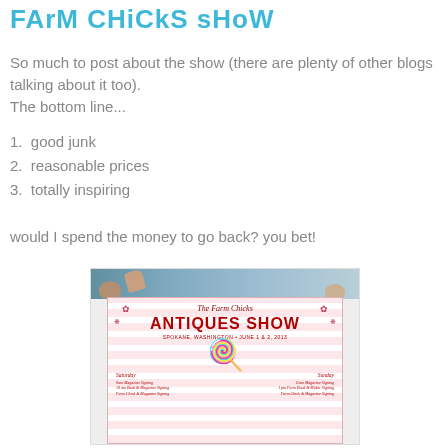FArM CHiCkS sHoW
So much to post about the show (there are plenty of other blogs talking about it too).
The bottom line...
1.  good junk
2.  reasonable prices
3.  totally inspiring
would I spend the money to go back? you bet!
[Figure (photo): Photo of a person holding The Farm Chicks Antiques Show program/flyer with pink and white stripes, featuring a large lollipop graphic and red text, taken at the event with a crowd visible in the background.]